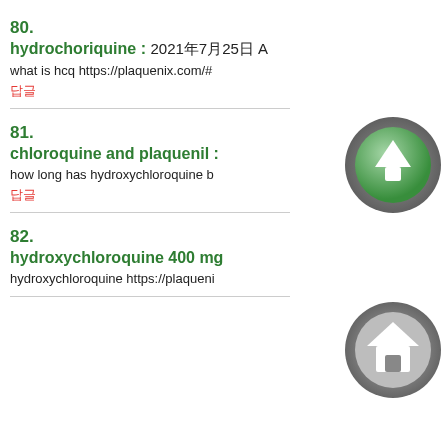80. hydrochoriquine : 2021年7月25日 A what is hcq https://plaquenix.com/#
81. chloroquine and plaquenil : how long has hydroxychloroquine b
82. hydroxychloroquine 400 mg hydroxychloroquine https://plaqueni